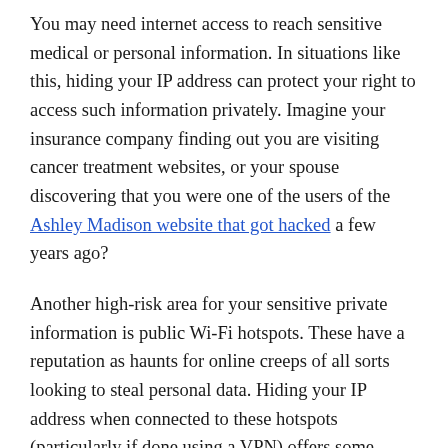You may need internet access to reach sensitive medical or personal information. In situations like this, hiding your IP address can protect your right to access such information privately. Imagine your insurance company finding out you are visiting cancer treatment websites, or your spouse discovering that you were one of the users of the Ashley Madison website that got hacked a few years ago?
Another high-risk area for your sensitive private information is public Wi-Fi hotspots. These have a reputation as haunts for online creeps of all sorts looking to steal personal data. Hiding your IP address when connected to these hotspots (particularly if done using a VPN) offers some protection against your data being stolen in a manner that can be traced back to you.